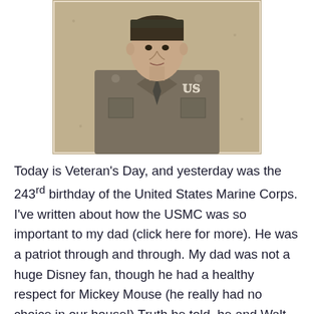[Figure (photo): Black and white / sepia vintage photograph of a man in United States Marine Corps military uniform, facing forward, with a military insignia visible on the chest pocket.]
Today is Veteran's Day, and yesterday was the 243rd birthday of the United States Marine Corps. I've written about how the USMC was so important to my dad (click here for more). He was a patriot through and through. My dad was not a huge Disney fan, though he had a healthy respect for Mickey Mouse (he really had no choice in our house!) Truth be told, he and Walt Disney had something important in common: